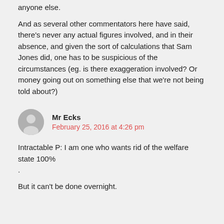anyone else.
And as several other commentators here have said, there's never any actual figures involved, and in their absence, and given the sort of calculations that Sam Jones did, one has to be suspicious of the circumstances (eg. is there exaggeration involved? Or money going out on something else that we're not being told about?)
Mr Ecks
February 25, 2016 at 4:26 pm
Intractable P: I am one who wants rid of the welfare state 100%
.
But it can't be done overnight.